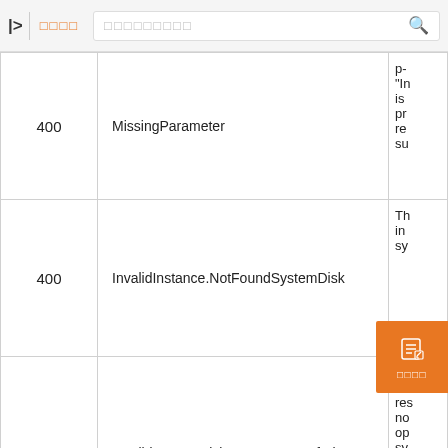> □□□□  □□□□□□□□□  🔍
| Code | Error Name | Description |
| --- | --- | --- |
| 400 | MissingParameter | p-
"In
is
pr
re
su |
| 400 | InvalidInstance.NotFoundSystemDisk | Th
in
sy |
| 403 | InvalidSystemDiskStatus.IsTransfering | Th
sta
res
no
op
sy |